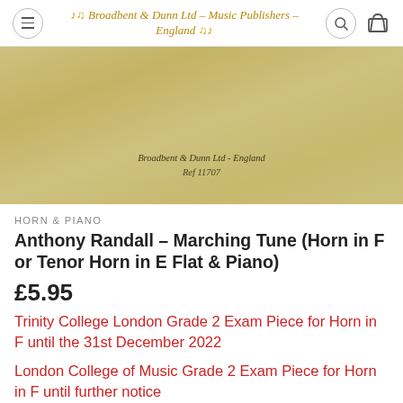Broadbent & Dunn Ltd – Music Publishers – England
[Figure (photo): Tan/parchment coloured product cover image with text 'Broadbent & Dunn Ltd - England' and 'Ref 11707' in italic serif font]
HORN & PIANO
Anthony Randall – Marching Tune (Horn in F or Tenor Horn in E Flat & Piano)
£5.95
Trinity College London Grade 2 Exam Piece for Horn in F until the 31st December 2022
London College of Music Grade 2 Exam Piece for Horn in F until further notice